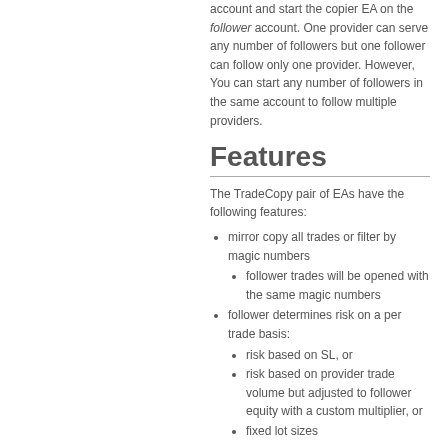account and start the copier EA on the follower account. One provider can serve any number of followers but one follower can follow only one provider. However, You can start any number of followers in the same account to follow multiple providers.
Features
The TradeCopy pair of EAs have the following features:
mirror copy all trades or filter by magic numbers
follower trades will be opened with the same magic numbers
follower determines risk on a per trade basis:
risk based on SL, or
risk based on provider trade volume but adjusted to follower equity with a custom multiplier, or
fixed lot sizes